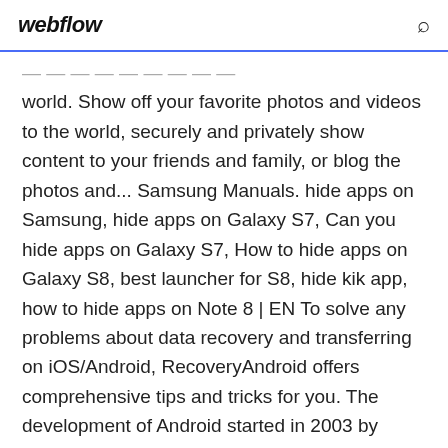webflow
world. Show off your favorite photos and videos to the world, securely and privately show content to your friends and family, or blog the photos and... Samsung Manuals. hide apps on Samsung, hide apps on Galaxy S7, Can you hide apps on Galaxy S7, How to hide apps on Galaxy S8, best launcher for S8, hide kik app, how to hide apps on Note 8 | EN To solve any problems about data recovery and transferring on iOS/Android, RecoveryAndroid offers comprehensive tips and tricks for you. The development of Android started in 2003 by Android, Inc., which was purchased by Google in 2005. There were at least two internal